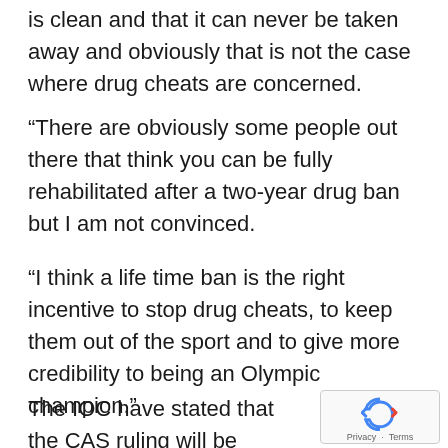is clean and that it can never be taken away and obviously that is not the case where drug cheats are concerned.
“There are obviously some people out there that think you can be fully rehabilitated after a two-year drug ban but I am not convinced.
“I think a life time ban is the right incentive to stop drug cheats, to keep them out of the sport and to give more credibility to being an Olympic champion.”
The IOC have stated that the CAS ruling will be widely accepted meaning that